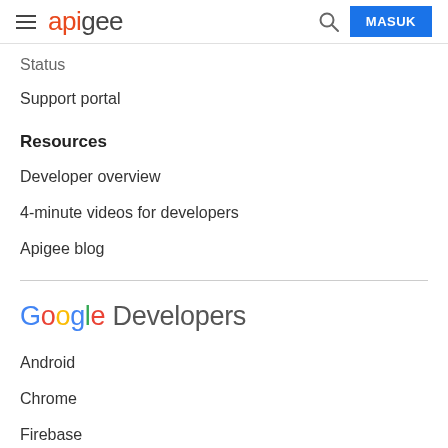apigee | MASUK
Status
Support portal
Resources
Developer overview
4-minute videos for developers
Apigee blog
[Figure (logo): Google Developers logo]
Android
Chrome
Firebase
Google Cloud Platform